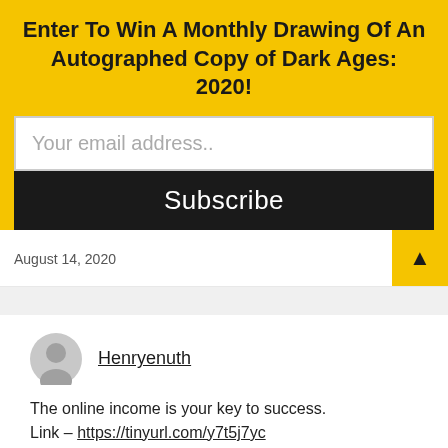Enter To Win A Monthly Drawing Of An Autographed Copy of Dark Ages: 2020!
Your email address..
Subscribe
August 14, 2020
Henryenuth
The online income is your key to success.
Link – https://tinyurl.com/y7t5j7yc
August 14, 2020